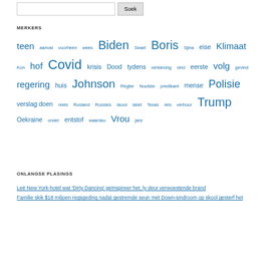MERKERS
teen aanval voorheen wees Biden Swart Boris Sjina eise Klimaat Kon hof Covid krisis Dood tydens verkiesing vind eerste volg gevind regering huis Johnson Regter Nuutste predikant mense Polisie verslag doen reels Rusland Russies skool skiet Texas reis verhoor Trump Oekraine onder entstof waarsku Vrou jare
ONLANGSE PLASINGS
Leë New York-hotel wat 'Dirty Dancing' geïnspireer het, ly deur verwoestende brand
Familie skik $18 miljoen regsgeding nadat gestremde seun met Down-sindroom op skool gesterf het